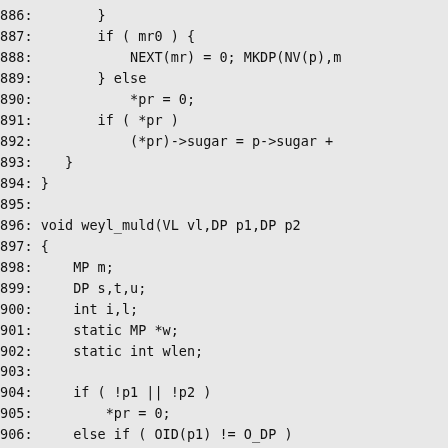886:        }
887:        if ( mr0 ) {
888:            NEXT(mr) = 0; MKDP(NV(p),m
889:        } else
890:            *pr = 0;
891:        if ( *pr )
892:            (*pr)->sugar = p->sugar +
893:    }
894: }
895:
896: void weyl_muld(VL vl,DP p1,DP p2
897: {
898:     MP m;
899:     DP s,t,u;
900:     int i,l;
901:     static MP *w;
902:     static int wlen;
903:
904:     if ( !p1 || !p2 )
905:         *pr = 0;
906:     else if ( OID(p1) != O_DP )
907:         muldc(vl,p2,(Obj)p1,pr);
908:     else if ( OID(p2) != O_DP )
909:         muldc(vl,p1,(Obj)p2,pr);
910:     else {
911:         for ( m = BDY(p1), l = 0; m,
912:         if ( l > wlen ) {
913:             if ( w ) GCFREE(w);
914:             w = (MP *)MALLOC(l*sizeof
915:             wlen = l;